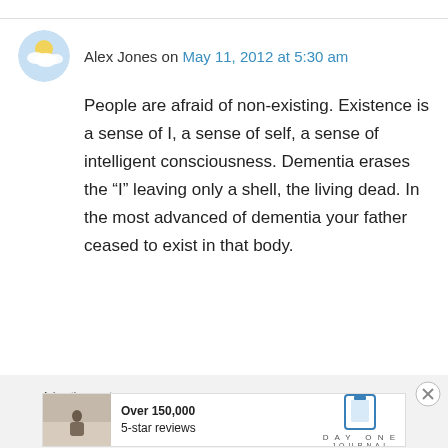Alex Jones on May 11, 2012 at 5:30 am
People are afraid of non-existing. Existence is a sense of I, a sense of self, a sense of intelligent consciousness. Dementia erases the “I” leaving only a shell, the living dead. In the most advanced of dementia your father ceased to exist in that body.
↳ Reply
Advertisements
Over 150,000 5-star reviews
DAY ONE JOURNAL